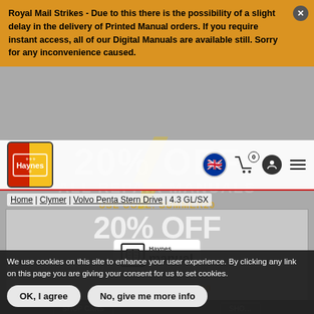Royal Mail Strikes - Due to this there is the possibility of a slight delay in the delivery of Printed Manual orders. If you require instant access, all of our Digital Manuals are available still. Sorry for any inconvenience caused.
[Figure (screenshot): Haynes website navigation bar with logo, UK flag, cart icon with 0 items, user icon, and hamburger menu. Background shows a flash sale promotional banner.]
Home | Clymer | Volvo Penta Stern Drive | 4.3 GL/SX
[Figure (screenshot): Haynes promotional banner showing '20% OFF ALL REPAIR MANUALS' with USE CODE: SUMMER20 overlay and Haynes Manual logo in center.]
We use cookies on this site to enhance your user experience. By clicking any link on this page you are giving your consent for us to set cookies.
OK, I agree
No, give me more info